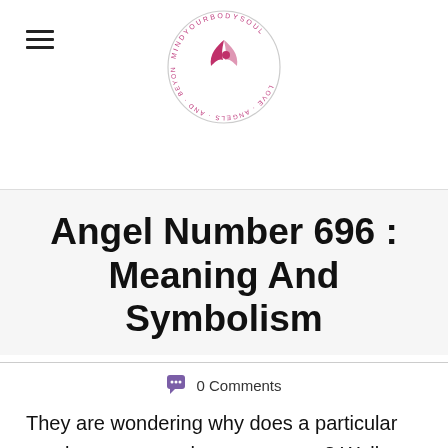MindYourBodySoul logo and navigation
Angel Number 696 : Meaning And Symbolism
0 Comments
They are wondering why does a particular number pops up wherever you go? Well, there are reasons for that, and the grounds are divine! Putting it in straight words, these